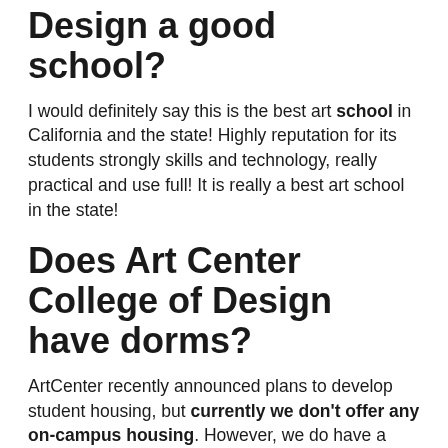Design a good school?
I would definitely say this is the best art school in California and the state! Highly reputation for its students strongly skills and technology, really practical and use full! It is really a best art school in the state!
Does Art Center College of Design have dorms?
ArtCenter recently announced plans to develop student housing, but currently we don't offer any on-campus housing. However, we do have a housing website and other valuable resources to assist you in your apartment and/or roommate search.